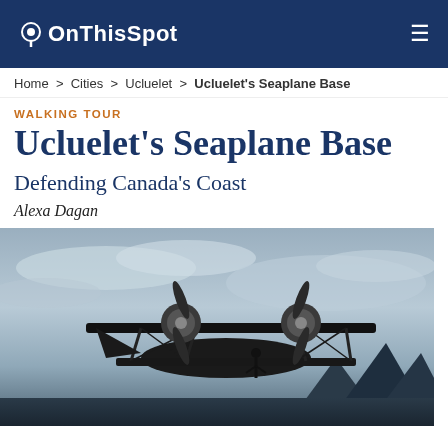OnThisSpot
Home > Cities > Ucluelet > Ucluelet's Seaplane Base
WALKING TOUR
Ucluelet's Seaplane Base
Defending Canada's Coast
Alexa Dagan
[Figure (photo): Black and white photograph of a vintage seaplane with two propeller engines and biplane wings, shot from a low angle against a dramatic cloudy sky with mountains in the background.]